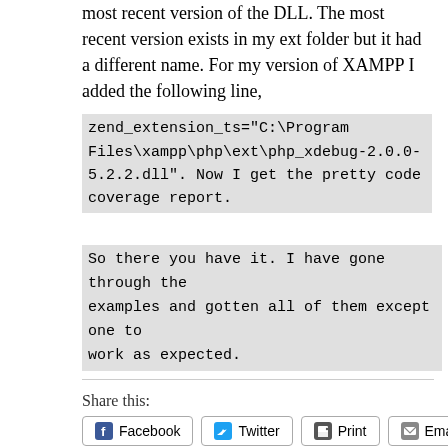most recent version of the DLL. The most recent version exists in my ext folder but it had a different name. For my version of XAMPP I added the following line,
zend_extension_ts="C:\Program Files\xampp\php\ext\php_xdebug-2.0.0-5.2.2.dll". Now I get the pretty code coverage report.
So there you have it. I have gone through the examples and gotten all of them except one to work as expected.
Share this:
Facebook  Twitter  Print  Email